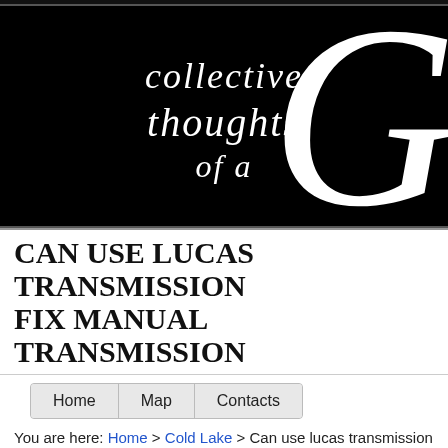[Figure (illustration): Black banner header with cursive white text reading 'collective thoughts of a' and a large decorative white italic 'G' on the right side]
CAN USE LUCAS TRANSMISSION FIX MANUAL TRANSMISSION
Home   Map   Contacts
You are here: Home > Cold Lake > Can use lucas transmission fix man...